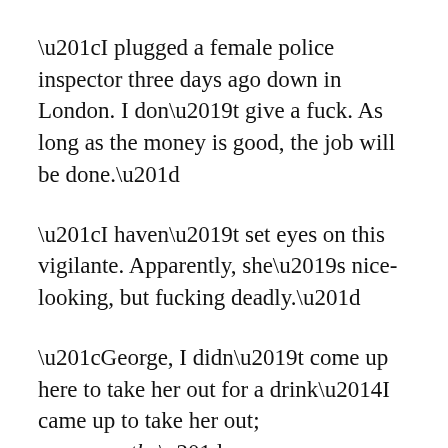“I plugged a female police inspector three days ago down in London. I don’t give a fuck. As long as the money is good, the job will be done.”
“I haven’t set eyes on this vigilante. Apparently, she’s nice-looking, but fucking deadly.”
“George, I didn’t come up here to take her out for a drink—I came up to take her out; permanently.”
Both men turned when a man ran down the fairway towards them.